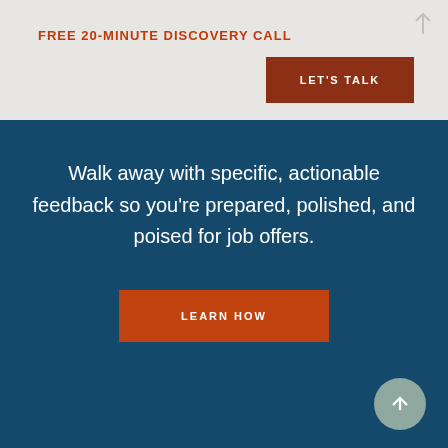FREE 20-MINUTE DISCOVERY CALL
LET'S TALK
Walk away with specific, actionable feedback so you're prepared, polished, and poised for job offers.
LEARN HOW